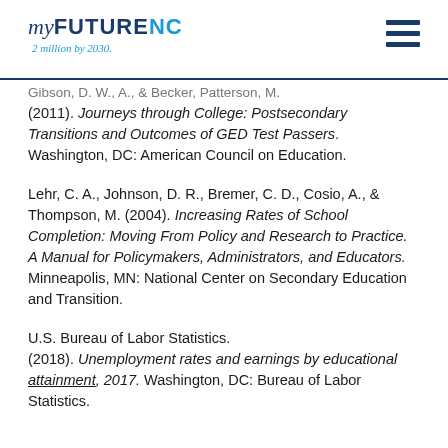myFUTURENC 2 million by 2030.
Gibson, D. W., A., & Becker, Patterson, M. (2011). Journeys through College: Postsecondary Transitions and Outcomes of GED Test Passers. Washington, DC: American Council on Education.
Lehr, C. A., Johnson, D. R., Bremer, C. D., Cosio, A., & Thompson, M. (2004). Increasing Rates of School Completion: Moving From Policy and Research to Practice. A Manual for Policymakers, Administrators, and Educators. Minneapolis, MN: National Center on Secondary Education and Transition.
U.S. Bureau of Labor Statistics. (2018). Unemployment rates and earnings by educational attainment, 2017. Washington, DC: Bureau of Labor Statistics.